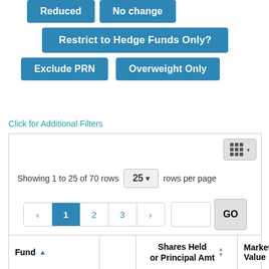Reduced   No change
Restrict to Hedge Funds Only?
Exclude PRN   Overweight Only
Click for Additional Filters
| Fund |  | Shares Held or Principal Amt | Market Value |
| --- | --- | --- | --- |
| ADV
GRC
HOL
INC |  |  |  |
Showing 1 to 25 of 70 rows   25▾   rows per page
‹  1  2  3  ›    GO